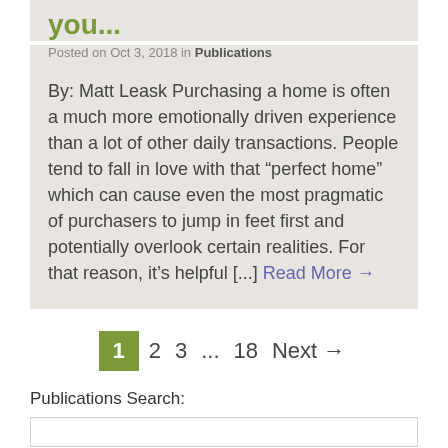you...
Posted on Oct 3, 2018 in Publications
By: Matt Leask Purchasing a home is often a much more emotionally driven experience than a lot of other daily transactions. People tend to fall in love with that “perfect home” which can cause even the most pragmatic of purchasers to jump in feet first and potentially overlook certain realities. For that reason, it’s helpful [...] Read More →
1  2  3  ...  18  Next →
Publications Search: